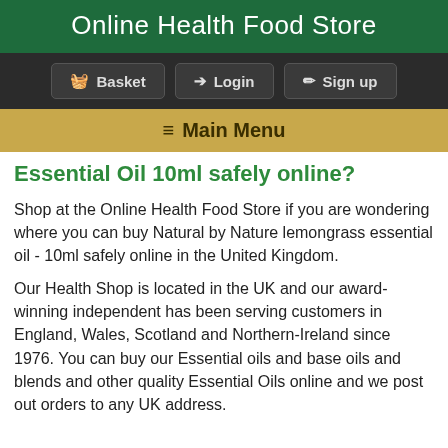Online Health Food Store
🧺 Basket  ➔ Login  ✏ Sign up
≡ Main Menu
Essential Oil 10ml safely online?
Shop at the Online Health Food Store if you are wondering where you can buy Natural by Nature lemongrass essential oil - 10ml safely online in the United Kingdom.
Our Health Shop is located in the UK and our award-winning independent has been serving customers in England, Wales, Scotland and Northern-Ireland since 1976. You can buy our Essential oils and base oils and blends and other quality Essential Oils online and we post out orders to any UK address.